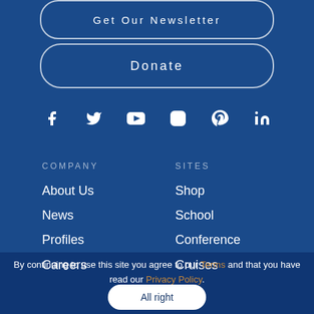Get Our Newsletter
Donate
[Figure (other): Social media icons: Facebook, Twitter, YouTube, Instagram, Pinterest, LinkedIn]
COMPANY
About Us
News
Profiles
Careers
SITES
Shop
School
Conference
Cruises
By continuing to use this site you agree to our Terms and that you have read our Privacy Policy.
All right